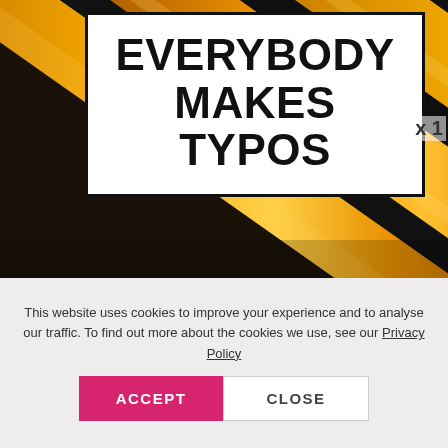[Figure (photo): Close-up photo of yellow and black pencils arranged diagonally, filling the top portion of the page]
EVERYBODY MAKES TYPOS
This website uses cookies to improve your experience and to analyse our traffic. To find out more about the cookies we use, see our Privacy Policy
ACCEPT
CLOSE